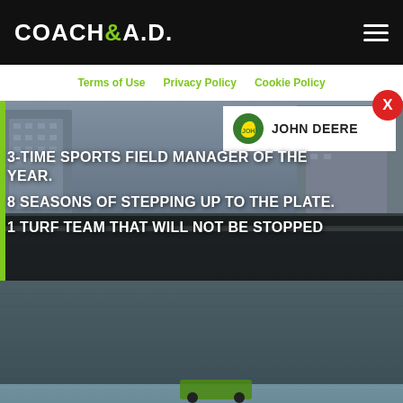COACH&A.D.
Terms of Use  Privacy Policy  Cookie Policy
[Figure (photo): Stadium aerial photo with John Deere branded advertisement overlay. Text reads: 3-TIME SPORTS FIELD MANAGER OF THE YEAR. 8 SEASONS OF STEPPING UP TO THE PLATE. 1 TURF TEAM THAT WILL NOT BE STOPPED. John Deere logo visible in white badge. Stadium seats and cityscape visible in background.]